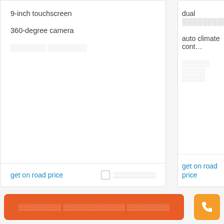9-inch touchscreen
360-degree camera
░░░░░░░ ░░░░░░░░
get on road price
░░░░░░░░░░
dual ░░░░░░░░░░
auto climate cont…
░░░░░░ ░░░░░ ░░░░░
get on road price
░░░░░ ░░░░░░ ░░░░░░░░░░░░ ░░░░░░░░
Second Hand ░░░░░░░ ░░░░░░░ ░░░░░░░░░ in
░░░░░░░░░ ░░░░░░░░░░░░░ ░░░░░░░░░